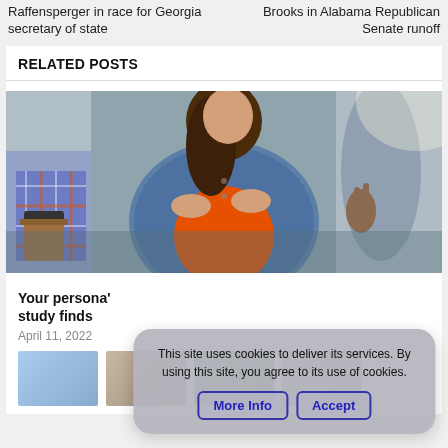Raffensperger in race for Georgia secretary of state
Brooks in Alabama Republican Senate runoff
RELATED POSTS
[Figure (photo): Three people sitting and chatting; a person in a plaid shirt holds a coffee cup, a woman in a denim jacket gestures with her hands, another person on the right gestures with their hand.]
Your persona' study finds
April 11, 2022
This site uses cookies to deliver its services. By using this site, you agree to its use of cookies.